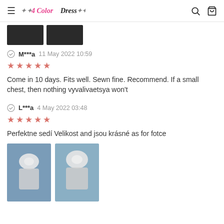4 Color Dress
[Figure (photo): Two dark/black product images partially visible at top]
M***a 11 May 2022 10:59 ★★★★★ Come in 10 days. Fits well. Sewn fine. Recommend. If a small chest, then nothing vyvalivaetsya won't
L***a 4 May 2022 03:48 ★★★★★ Perfektne sedí Velikost and jsou krásné as for fotce
[Figure (photo): Two photos of a white swimsuit/bikini displayed on a blue fabric background]